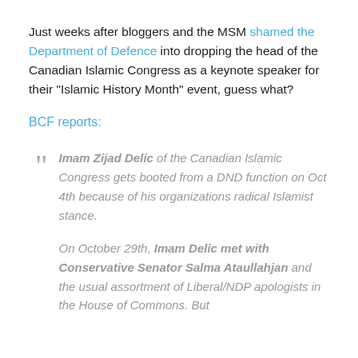Just weeks after bloggers and the MSM shamed the Department of Defence into dropping the head of the Canadian Islamic Congress as a keynote speaker for their “Islamic History Month” event, guess what?
BCF reports:
“ Imam Zijad Delic of the Canadian Islamic Congress gets booted from a DND function on Oct 4th because of his organizations radical Islamist stance.

On October 29th, Imam Delic met with Conservative Senator Salma Ataullahjan and the usual assortment of Liberal/NDP apologists in the House of Commons. But